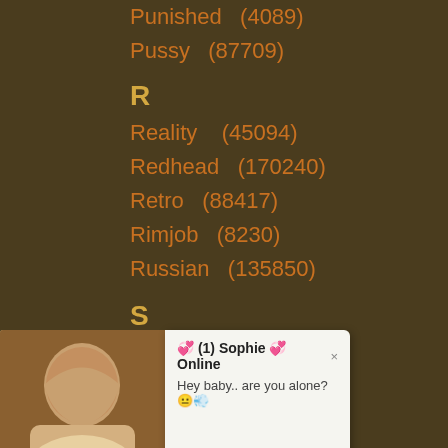Punished  (4089)
Pussy  (87709)
R
Reality   (45094)
Redhead   (170240)
Retro   (88417)
Rimjob   (8230)
Russian   (135850)
S
[Figure (photo): Popup notification with photo of a woman lying down, message from Sophie saying 'Hey baby.. are you alone?']
Shaved   (101261)
[Figure (photo): Second popup notification with photo of a woman, same message from Sophie saying 'Hey baby.. are you alone?']
Skinny   (123778)